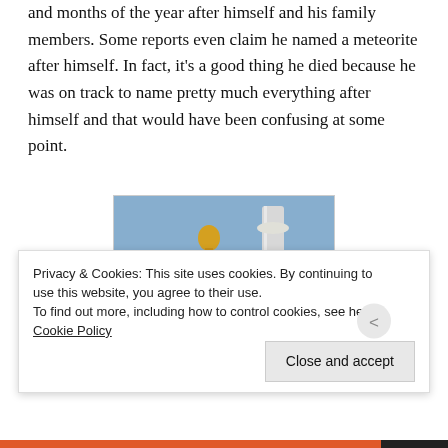and months of the year after himself and his family members. Some reports even claim he named a meteorite after himself. In fact, it's a good thing he died because he was on track to name pretty much everything after himself and that would have been confusing at some point.
[Figure (photo): A golden statue of a man in a suit standing next to a tall white column or pillar, against a blue sky background.]
Privacy & Cookies: This site uses cookies. By continuing to use this website, you agree to their use.
To find out more, including how to control cookies, see here: Cookie Policy